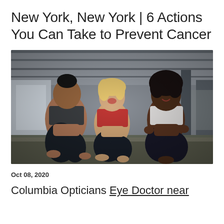New York, New York | 6 Actions You Can Take to Prevent Cancer
[Figure (photo): Three women in athletic/sports bra outfits sitting on the floor of an industrial gym space, smiling and interacting. The woman on the left has dark hair in a ponytail and wears a dark sports bra and black leggings. The woman in the center is blonde and wears a red sports bra and black pants. The woman on the right has natural hair and wears a white sports bra and dark pants.]
Oct 08, 2020
Columbia Opticians Eye Doctor near